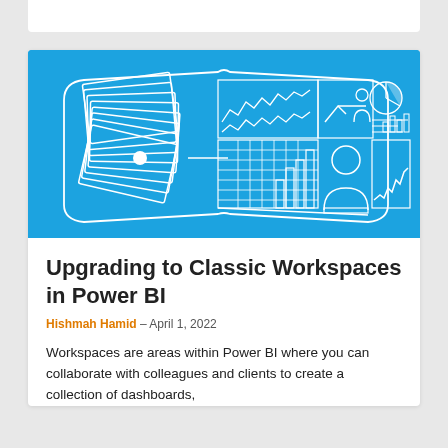[Figure (illustration): Blue banner illustration showing a person sitting in front of a curved multi-panel dashboard display with charts (line charts, bar charts, pie chart, data tables) and a stack of layered pages on the left connected by a line with a circle.]
Upgrading to Classic Workspaces in Power BI
Hishmah Hamid – April 1, 2022
Workspaces are areas within Power BI where you can collaborate with colleagues and clients to create a collection of dashboards,